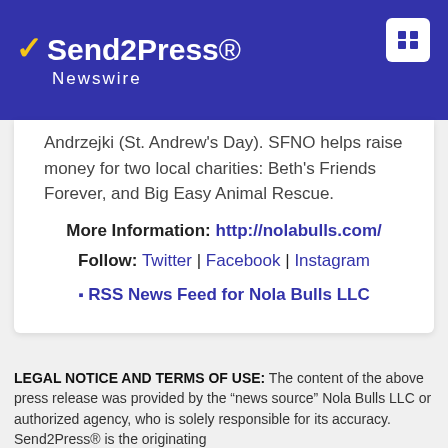[Figure (logo): Send2Press Newswire logo on dark blue header bar with lightning bolt icon and hamburger menu icon]
Andrzejki (St. Andrew's Day). SFNO helps raise money for two local charities: Beth's Friends Forever, and Big Easy Animal Rescue.
More Information: http://nolabulls.com/
Follow: Twitter | Facebook | Instagram
RSS News Feed for Nola Bulls LLC
LEGAL NOTICE AND TERMS OF USE: The content of the above press release was provided by the "news source" Nola Bulls LLC or authorized agency, who is solely responsible for its accuracy. Send2Press® is the originating